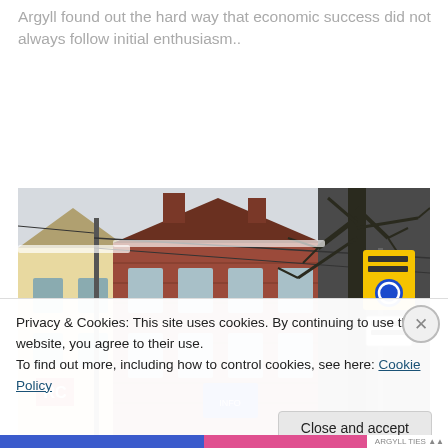Argyll found out the hard way that economic success did not always follow initial enthusiasm..
[Figure (photo): Street scene photograph showing brick buildings, bare winter trees, overhead wires, and a yellow parking/traffic sign with a blue circle, taken in a town centre on a grey overcast day.]
Privacy & Cookies: This site uses cookies. By continuing to use this website, you agree to their use.
To find out more, including how to control cookies, see here: Cookie Policy
Close and accept